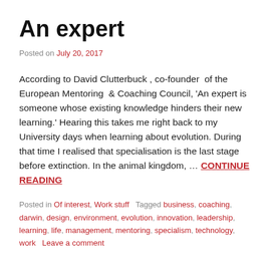An expert
Posted on July 20, 2017
According to David Clutterbuck , co-founder  of the European Mentoring  & Coaching Council, 'An expert is someone whose existing knowledge hinders their new learning.' Hearing this takes me right back to my University days when learning about evolution. During that time I realised that specialisation is the last stage before extinction. In the animal kingdom, … CONTINUE READING
Posted in Of interest, Work stuff   Tagged business, coaching, darwin, design, environment, evolution, innovation, leadership, learning, life, management, mentoring, specialism, technology, work   Leave a comment